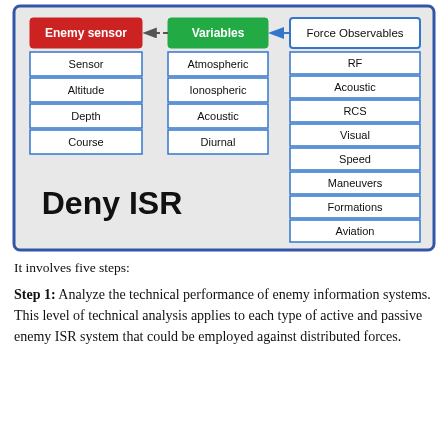[Figure (flowchart): Diagram showing 'Deny ISR' concept with three columns: 'Enemy sensor' (red box, items: Sensor, Altitude, Depth, Course), 'Variables' (green box, items: Atmospheric, Ionospheric, Acoustic, Diurnal), and 'Force Observables' (blue box, items: RF, Acoustic, RCS, Visual, Speed, Maneuvers, Formations, Aviation). Arrows connect Force Observables to Variables (solid blue arrow) and Variables to Enemy sensor (dashed arrow). Large text 'Deny ISR' appears in lower-left area. All contained in a light-gray rounded rectangle with blue border.]
It involves five steps:
Step 1: Analyze the technical performance of enemy information systems. This level of technical analysis applies to each type of active and passive enemy ISR system that could be employed against distributed forces.